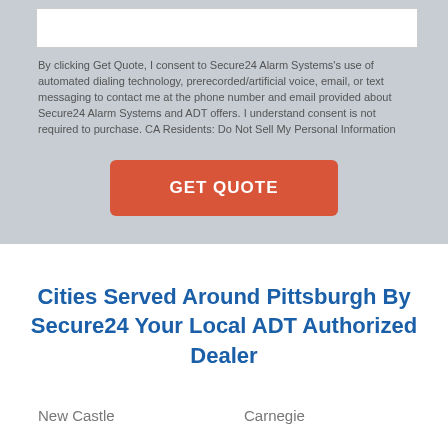By clicking Get Quote, I consent to Secure24 Alarm Systems's use of automated dialing technology, prerecorded/artificial voice, email, or text messaging to contact me at the phone number and email provided about Secure24 Alarm Systems and ADT offers. I understand consent is not required to purchase. CA Residents: Do Not Sell My Personal Information
GET QUOTE
Cities Served Around Pittsburgh By Secure24 Your Local ADT Authorized Dealer
New Castle
Carnegie